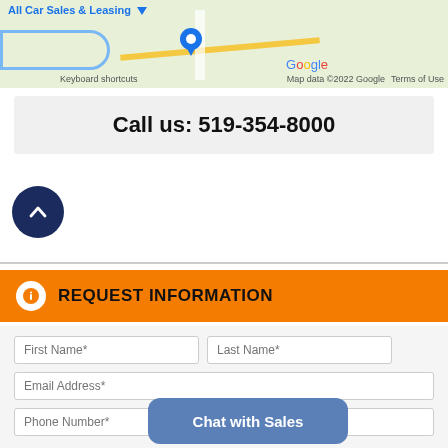[Figure (screenshot): Partial Google Maps screenshot showing a location for All Car Sales & Leasing with a blue location pin, yellow road, river, and Google branding with 'Keyboard shortcuts', 'Map data ©2022 Google', and 'Terms of Use' labels.]
Call us:  519-354-8000
[Figure (other): Dark navy circular scroll-to-top button with upward chevron arrow icon.]
REQUEST INFORMATION
First Name*
Last Name*
Email Address*
Phone Number*
Comments
Chat with Sales